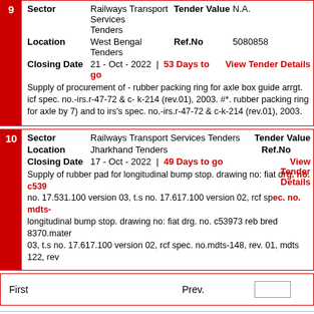| Sector | Railways Transport Services Tenders | Tender Value | N.A. |
| Location | West Bengal Tenders | Ref.No | 5080858 |
| Closing Date | 21 - Oct - 2022 | 53 Days to go |  | View Tender Details |
Supply of procurement of - rubber packing ring for axle box guide arrgt. icf spec. no.-irs.r-47-72 & c- k-214 (rev.01), 2003. #*. rubber packing ring for axle by 7) and to irs's spec. no.-irs.r-47-72 & c-k-214 (rev.01), 2003.
| Sector | Railways Transport Services Tenders | Tender Value |  |
| Location | Jharkhand Tenders | Ref.No |  |
| Closing Date | 17 - Oct - 2022 | 49 Days to go |  | View Tender Details |
Supply of rubber pad for longitudinal bump stop. drawing no: fiat drg. no. c53973 reb bred 8370 no. 17.531.100 version 03, t.s no. 17.617.100 version 02, rcf spec. no. mdts-longitudinal bump stop. drawing no: fiat drg. no. c53973 reb bred 8370.mater 03, t.s no. 17.617.100 version 02, rcf spec. no.mdts-148, rev. 01, mdts 122, rev
First    Prev.
Register | Contact Us | About U
This site is best viewed in Internet Explorer 6.0 or
Copyright © 2022 e Procureme